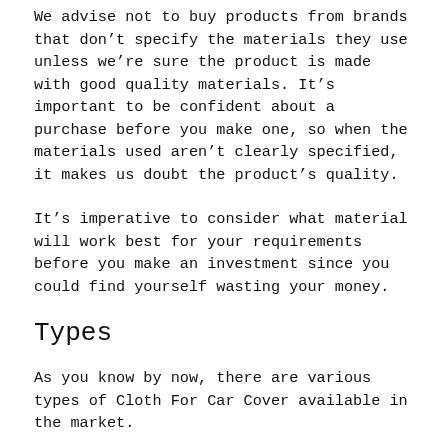We advise not to buy products from brands that don't specify the materials they use unless we're sure the product is made with good quality materials. It's important to be confident about a purchase before you make one, so when the materials used aren't clearly specified, it makes us doubt the product's quality.
It's imperative to consider what material will work best for your requirements before you make an investment since you could find yourself wasting your money.
Types
As you know by now, there are various types of Cloth For Car Cover available in the market.